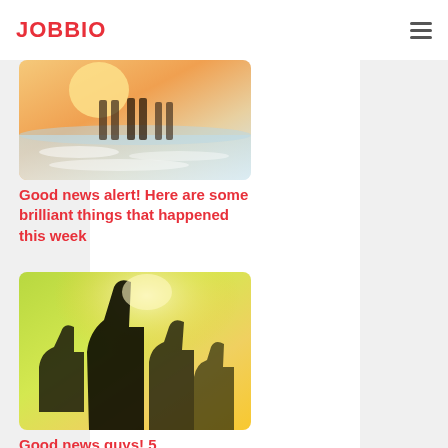JOBBIO
[Figure (photo): Photo of people walking on a beach with waves and golden sunlight]
Good news alert! Here are some brilliant things that happened this week
[Figure (photo): Photo of multiple hands giving thumbs up against a bright green/yellow background with sunlight]
Good news guys! 5 heartwarming news stories that happened this week